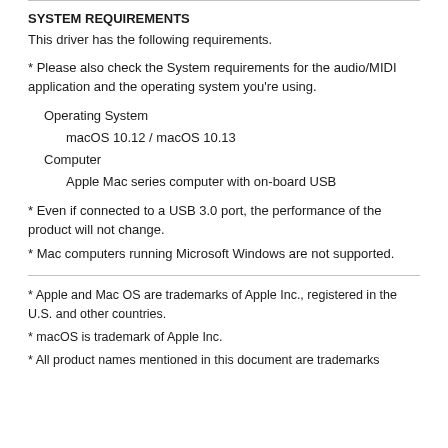SYSTEM REQUIREMENTS
This driver has the following requirements.
* Please also check the System requirements for the audio/MIDI application and the operating system you're using.
| Operating System |  |
|  | macOS 10.12 / macOS 10.13 |
| Computer |  |
|  | Apple Mac series computer with on-board USB |
* Even if connected to a USB 3.0 port, the performance of the product will not change.
* Mac computers running Microsoft Windows are not supported.
* Apple and Mac OS are trademarks of Apple Inc., registered in the U.S. and other countries.
* macOS is trademark of Apple Inc.
* All product names mentioned in this document are trademarks